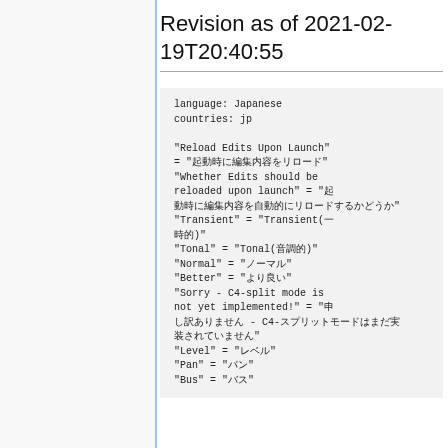Revision as of 2021-02-19T20:40:55
language: Japanese
countries: jp

"Reload Edits Upon Launch" = "起動時に編集内容をリロード"
"Whether Edits should be reloaded upon launch" = "起動時に編集内容を自動的にリロードするかどうか"
"Transient" = "Transient(一時的)"
"Tonal" = "Tonal(音調的)"
"Normal" = "ノーマル"
"Better" = "より良い"
"Sorry - C4-split mode is not yet implemented!" = "申し訳ありません - C4-スプリットモードはまだ実装されていません"
"Level" = "レベル"
"Pan" = "パン"
"Bus" = "バス"